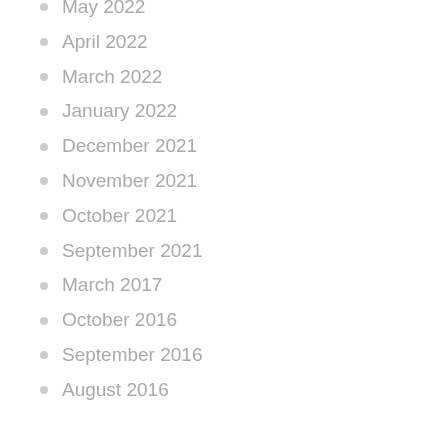May 2022
April 2022
March 2022
January 2022
December 2021
November 2021
October 2021
September 2021
March 2017
October 2016
September 2016
August 2016